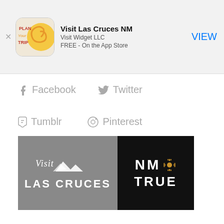[Figure (screenshot): App Store Smart Banner for 'Visit Las Cruces NM' app by Visit Widget LLC, FREE on the App Store, with VIEW button]
Facebook
Twitter
Tumblr
Pinterest
Google+
LinkedIn
E-Mail
[Figure (logo): Visit Las Cruces logo on grey background beside NM TRUE logo on black background]